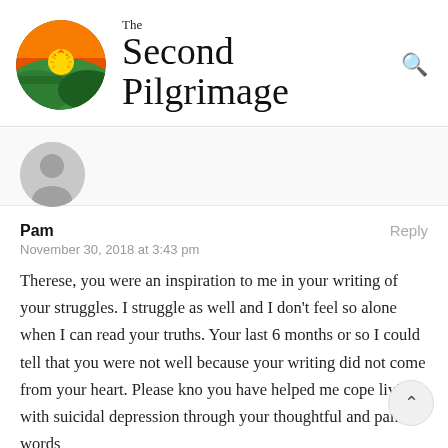[Figure (logo): The Second Pilgrimage website logo with circular sunset/landscape illustration and serif text]
[Figure (photo): Gray default avatar/profile picture placeholder]
Pam
Reply
November 30, 2018 at 3:43 pm
Therese, you were an inspiration to me in your writing of your struggles. I struggle as well and I don't feel so alone when I can read your truths. Your last 6 months or so I could tell that you were not well because your writing did not come from your heart. Please kno you have helped me cope living with suicidal depression through your thoughtful and painful words